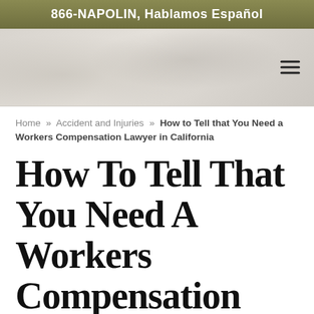866-NAPOLIN, Hablamos Español
[Figure (photo): Hero banner image with marble/stone texture background and hamburger menu icon in top right]
Home » Accident and Injuries » How to Tell that You Need a Workers Compensation Lawyer in California
How To Tell That You Need A Workers Compensation Lawyer In California